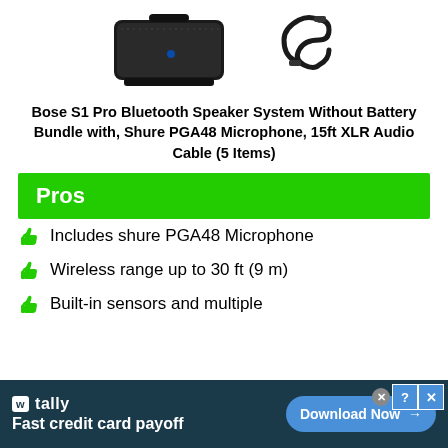[Figure (photo): Product images showing Bose S1 Pro speaker (left) and XLR audio cable (right) on white background]
Bose S1 Pro Bluetooth Speaker System Without Battery Bundle with, Shure PGA48 Microphone, 15ft XLR Audio Cable (5 Items)
Pros
Includes shure PGA48 Microphone
Wireless range up to 30 ft (9 m)
Built-in sensors and multiple
[Figure (screenshot): Advertisement banner for Tally app - Fast credit card payoff with Download Now button]